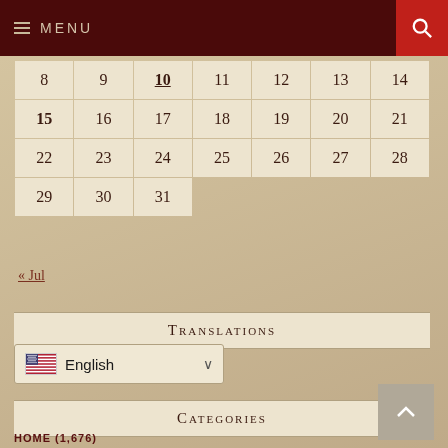MENU
| 8 | 9 | 10 | 11 | 12 | 13 | 14 |
| 15 | 16 | 17 | 18 | 19 | 20 | 21 |
| 22 | 23 | 24 | 25 | 26 | 27 | 28 |
| 29 | 30 | 31 |  |  |  |  |
« Jul
Translations
[Figure (screenshot): Language selector dropdown showing US flag and 'English' with chevron]
Categories
HOME (1,676)
A HEAVENLY MAP (5)
A RESPONSE (…)